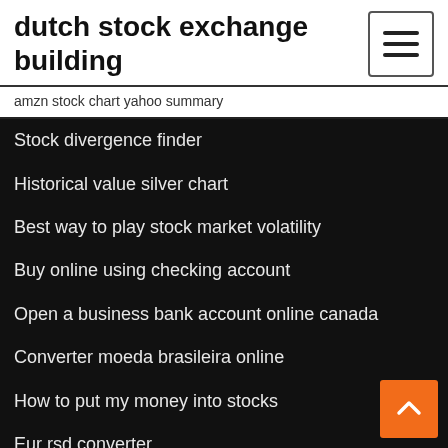dutch stock exchange building
amzn stock chart yahoo summary
Stock divergence finder
Historical value silver chart
Best way to play stock market volatility
Buy online using checking account
Open a business bank account online canada
Converter moeda brasileira online
How to put my money into stocks
Eur rsd converter
Commercial leasing process flow chart
Convert 1 oil barrels to liters